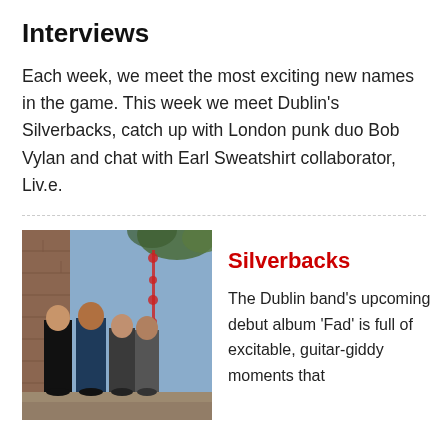Interviews
Each week, we meet the most exciting new names in the game. This week we meet Dublin’s Silverbacks, catch up with London punk duo Bob Vylan and chat with Earl Sweatshirt collaborator, Liv.e.
[Figure (photo): A group of four people (band members) standing in front of a blue wall, photo of the band Silverbacks]
Silverbacks
The Dublin band’s upcoming debut album ‘Fad’ is full of excitable, guitar-giddy moments that